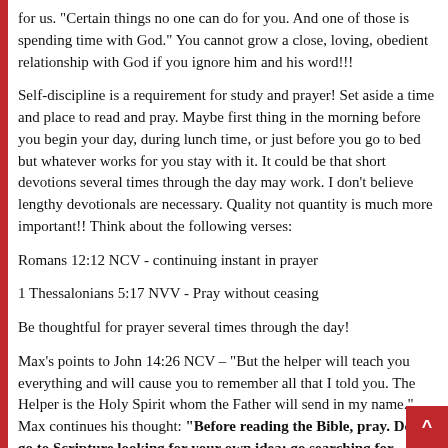for us. "Certain things no one can do for you. And one of those is spending time with God." You cannot grow a close, loving, obedient relationship with God if you ignore him and his word!!!
Self-discipline is a requirement for study and prayer! Set aside a time and place to read and pray. Maybe first thing in the morning before you begin your day, during lunch time, or just before you go to bed but whatever works for you stay with it. It could be that short devotions several times through the day may work. I don't believe lengthy devotionals are necessary. Quality not quantity is much more important!! Think about the following verses:
Romans 12:12 NCV - continuing instant in prayer
1 Thessalonians 5:17 NVV - Pray without ceasing
Be thoughtful for prayer several times through the day!
Max's points to John 14:26 NCV – "But the helper will teach you everything and will cause you to remember all that I told you. The Helper is the Holy Spirit whom the Father will send in my name." Max continues his thought: "Before reading the Bible, pray. Don't go to Scripture looking for your own idea; go searching for God's."